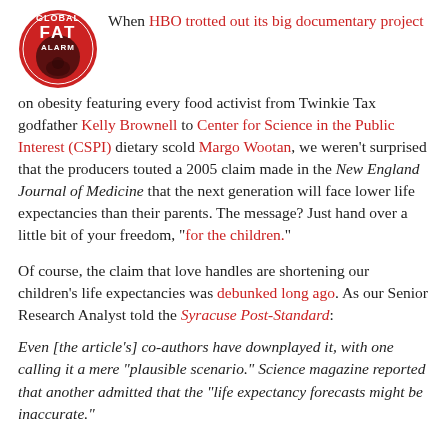[Figure (logo): Red circular badge logo with text 'GLOBAL FAT ALARM' and a dark center image]
When HBO trotted out its big documentary project on obesity featuring every food activist from Twinkie Tax godfather Kelly Brownell to Center for Science in the Public Interest (CSPI) dietary scold Margo Wootan, we weren't surprised that the producers touted a 2005 claim made in the New England Journal of Medicine that the next generation will face lower life expectancies than their parents. The message? Just hand over a little bit of your freedom, "for the children."
Of course, the claim that love handles are shortening our children's life expectancies was debunked long ago. As our Senior Research Analyst told the Syracuse Post-Standard:
Even [the article's] co-authors have downplayed it, with one calling it a mere "plausible scenario." Science magazine reported that another admitted that the "life expectancy forecasts might be inaccurate."